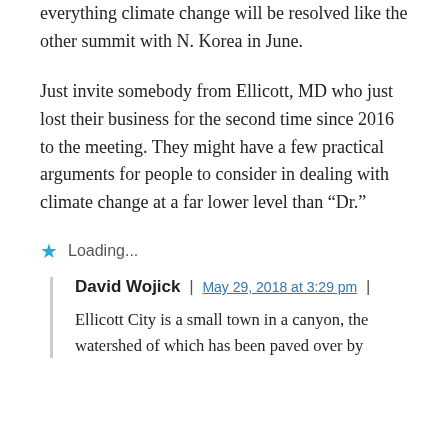everything climate change will be resolved like the other summit with N. Korea in June.
Just invite somebody from Ellicott, MD who just lost their business for the second time since 2016 to the meeting. They might have a few practical arguments for people to consider in dealing with climate change at a far lower level than “Dr.”
Loading...
David Wojick | May 29, 2018 at 3:29 pm |
Ellicott City is a small town in a canyon, the watershed of which has been paved over by